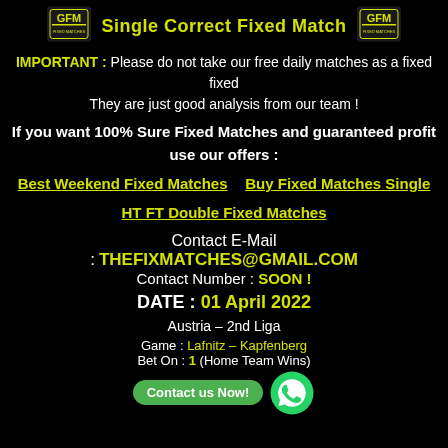Single Correct Fixed Match
IMPORTANT : Please do not take our free daily matches as a fixed
They are just good analysis from our team !
If you want 100% Sure Fixed Matches and guaranteed profit use our offers :
Best Weekend Fixed Matches   Buy Fixed Matches Single   HT FT Double Fixed Matches
Contact E-Mail
: THEFIXMATCHES@GMAIL.COM
Contact Number : SOON !
DATE : 01 April 2022
Austria – 2nd Liga
Game : Lafnitz – Kapfenberg
Bet On : 1 (Home Team Wins)